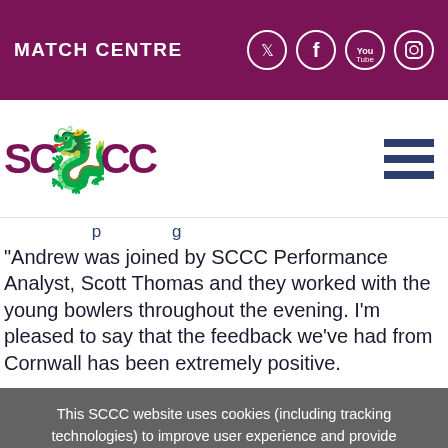MATCH CENTRE
[Figure (logo): SCCC cricket club logo with dragon and text 'SC CC']
“Andrew was joined by SCCC Performance Analyst, Scott Thomas and they worked with the young bowlers throughout the evening. I’m pleased to say that the feedback we’ve had from Cornwall has been extremely positive.
This SCCC website uses cookies (including tracking technologies) to improve user experience and provide appropriate information. If you continue on this website you will be providing your consent to our use of these. You can see our cookies and learn how to manage them.
Find out more
Got it